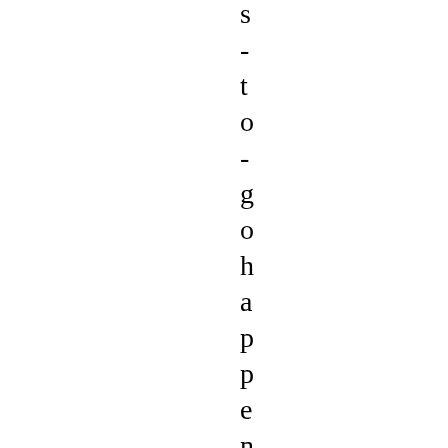s - t o - g o h a p p e n e d u